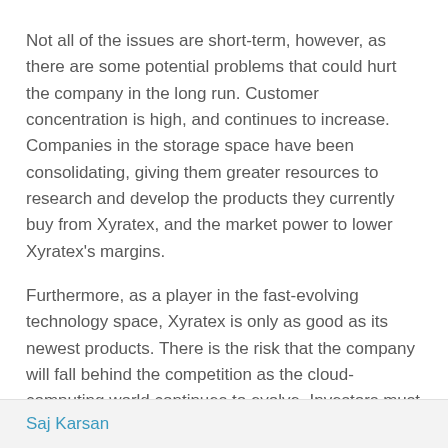Not all of the issues are short-term, however, as there are some potential problems that could hurt the company in the long run. Customer concentration is high, and continues to increase. Companies in the storage space have been consolidating, giving them greater resources to research and develop the products they currently buy from Xyratex, and the market power to lower Xyratex's margins.
Furthermore, as a player in the fast-evolving technology space, Xyratex is only as good as its newest products. There is the risk that the company will fall behind the competition as the cloud-computing world continues to evolve. Investors must ensure that they understand the competitive threats facing the company from not only continuously evolving specs, but potential disruptive technologies that can alter the competitive landscape.
Disclosure: No position
Saj Karsan